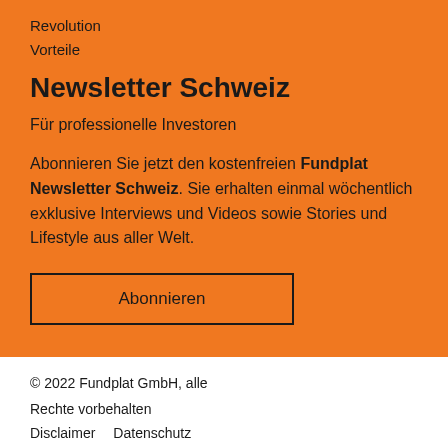Revolution
Vorteile
Newsletter Schweiz
Für professionelle Investoren
Abonnieren Sie jetzt den kostenfreien Fundplat Newsletter Schweiz. Sie erhalten einmal wöchentlich exklusive Interviews und Videos sowie Stories und Lifestyle aus aller Welt.
Abonnieren
© 2022 Fundplat GmbH, alle Rechte vorbehalten
Disclaimer    Datenschutz
[Figure (other): Social media icons: LinkedIn, Twitter, Xing, YouTube in orange]